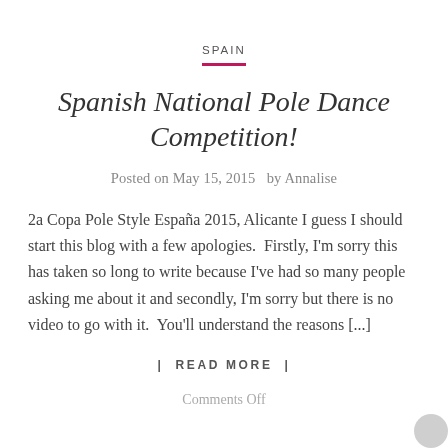SPAIN
Spanish National Pole Dance Competition!
Posted on May 15, 2015   by Annalise
2a Copa Pole Style España 2015, Alicante I guess I should start this blog with a few apologies.  Firstly, I'm sorry this has taken so long to write because I've had so many people asking me about it and secondly, I'm sorry but there is no video to go with it.  You'll understand the reasons [...]
| READ MORE |
Comments Off